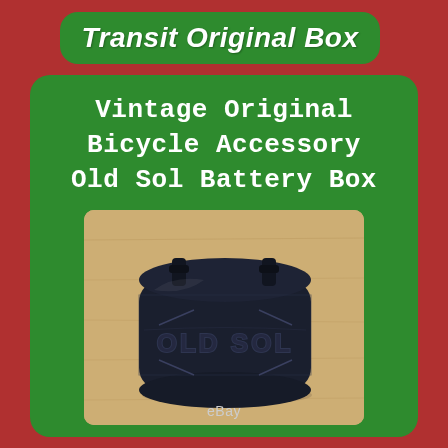Transit Original Box
Vintage Original Bicycle Accessory Old Sol Battery Box
[Figure (photo): Vintage black leather Old Sol battery box with embossed text 'OLD SOL' on the front, showing two rubber mounting clips on top, photographed on a light wood surface. eBay watermark at bottom.]